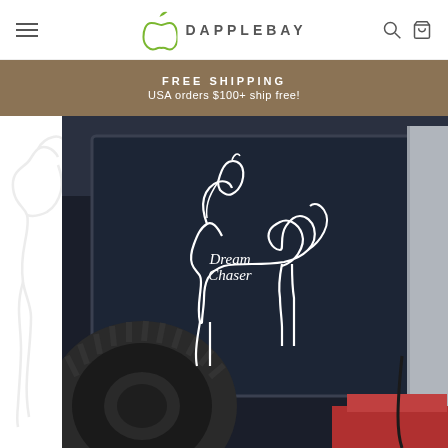DAPPLEBAY
FREE SHIPPING
USA orders $100+ ship free!
[Figure (photo): Photo of a white horse outline decal with 'Dream Chaser' script text inside, applied to a dark vehicle window. A large off-road tire is visible in the lower left of the image.]
[Figure (illustration): Semi-transparent white horse outline sticker preview on the left side of the page.]